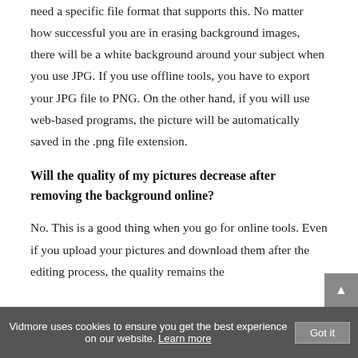need a specific file format that supports this. No matter how successful you are in erasing background images, there will be a white background around your subject when you use JPG. If you use offline tools, you have to export your JPG file to PNG. On the other hand, if you will use web-based programs, the picture will be automatically saved in the .png file extension.
Will the quality of my pictures decrease after removing the background online?
No. This is a good thing when you go for online tools. Even if you upload your pictures and download them after the editing process, the quality remains the
Vidmore uses cookies to ensure you get the best experience on our website. Learn more  Got it